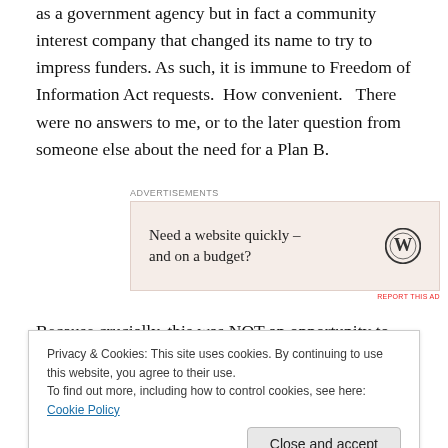as a government agency but in fact a community interest company that changed its name to try to impress funders. As such, it is immune to Freedom of Information Act requests.  How convenient.   There were no answers to me, or to the later question from someone else about the need for a Plan B.
[Figure (other): Advertisement block with text 'Need a website quickly – and on a budget?' and WordPress logo on a beige background]
Because crucially, this was NOT an opportunity to hold the
Privacy & Cookies: This site uses cookies. By continuing to use this website, you agree to their use.
To find out more, including how to control cookies, see here: Cookie Policy
#stayclassy.